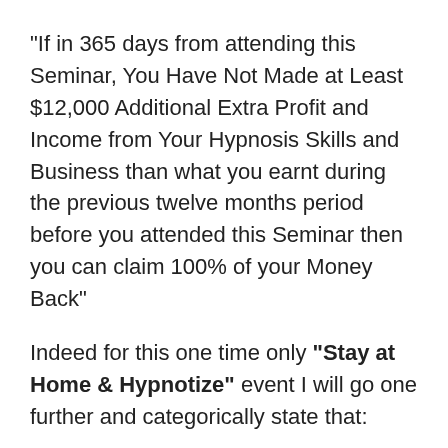“If in 365 days from attending this Seminar, You Have Not Made at Least $12,000 Additional Extra Profit and Income from Your Hypnosis Skills and Business than what you earnt during the previous twelve months period before you attended this Seminar then you can claim 100% of your Money Back”
Indeed for this one time only “Stay at Home & Hypnotize” event I will go one further and categorically state that:
“If in 365 days from attending this Seminar, You Have Not Made at Least $12,000 Additional Extra Profit and Income from Your Hypnosis Skills and Business than what you earnt during the previous twelve months period before you attended this Seminar then you can claim 100% of your Money Back &We Will Also Pay you $500 Extra as well”